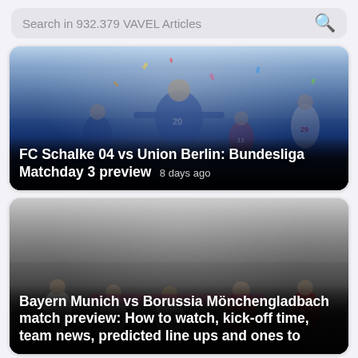Search in 932.379 VAVEL Articles
[Figure (photo): Football player in blue Schalke 04 jersey celebrating with arms outstretched on pitch, with other players in background]
FC Schalke 04 vs Union Berlin: Bundesliga Matchday 3 preview  8 days ago
[Figure (photo): Football match scene with players from Bayern Munich and Borussia Mönchengladbach competing, stadium crowd in background]
Bayern Munich vs Borussia Mönchengladbach match preview: How to watch, kick-off time, team news, predicted line ups and ones to